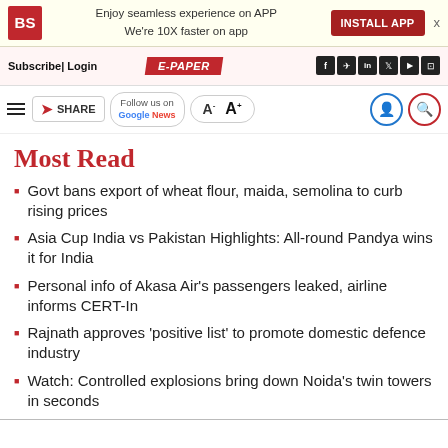BS | Enjoy seamless experience on APP. We're 10X faster on app. INSTALL APP
Subscribe | Login | E-PAPER
SHARE | Follow us on Google News | A- A+
Most Read
Govt bans export of wheat flour, maida, semolina to curb rising prices
Asia Cup India vs Pakistan Highlights: All-round Pandya wins it for India
Personal info of Akasa Air's passengers leaked, airline informs CERT-In
Rajnath approves 'positive list' to promote domestic defence industry
Watch: Controlled explosions bring down Noida's twin towers in seconds